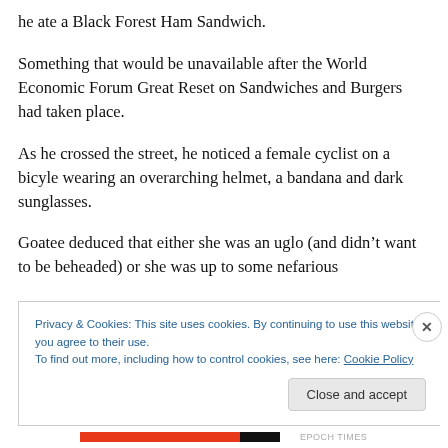he ate a Black Forest Ham Sandwich.
Something that would be unavailable after the World Economic Forum Great Reset on Sandwiches and Burgers had taken place.
As he crossed the street, he noticed a female cyclist on a bicyle wearing an overarching helmet, a bandana and dark sunglasses.
Goatee deduced that either she was an uglo (and didn’t want to be beheaded) or she was up to some nefarious
Privacy & Cookies: This site uses cookies. By continuing to use this website, you agree to their use.
To find out more, including how to control cookies, see here: Cookie Policy